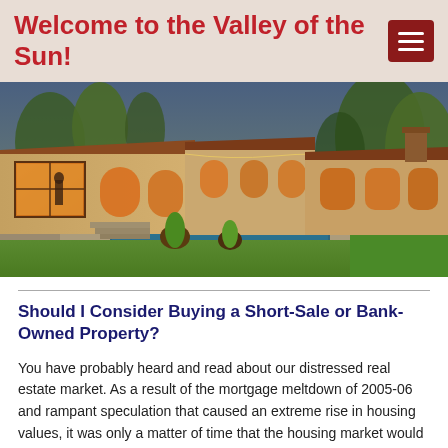Welcome to the Valley of the Sun!
[Figure (photo): Exterior photo of a Spanish-style luxury home with a swimming pool, warm interior lighting, surrounded by lush green trees at dusk.]
Should I Consider Buying a Short-Sale or Bank-Owned Property?
You have probably heard and read about our distressed real estate market.  As a result of the mortgage meltdown of 2005-06 and rampant speculation that caused an extreme rise in housing values, it was only a matter of time that the housing market would make a correction, and begin the process of stabilizing.
It happened rather suddenly during 2006 and has been in a downward spiral ever since.  As a result of this housing value correction, there is presently an abundance of opportunities to